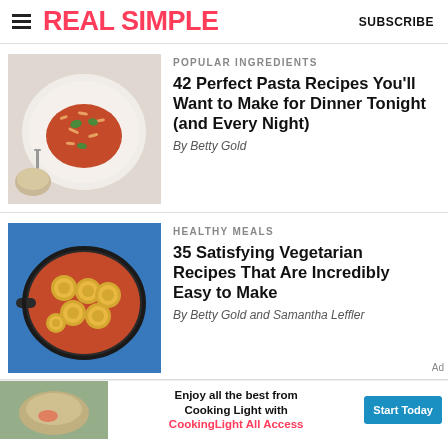REAL SIMPLE | SUBSCRIBE
POPULAR INGREDIENTS
42 Perfect Pasta Recipes You'll Want to Make for Dinner Tonight (and Every Night)
By Betty Gold
[Figure (photo): A plate of pasta with tomato sauce, vegetables, and a fork on the side]
HEALTHY MEALS
35 Satisfying Vegetarian Recipes That Are Incredibly Easy to Make
By Betty Gold and Samantha Leffler
[Figure (photo): A blue skillet with golden sliced vegetables in tomato sauce]
[Figure (photo): Advertisement: Enjoy all the best from Cooking Light with CookingLight All Access - Start Today button]